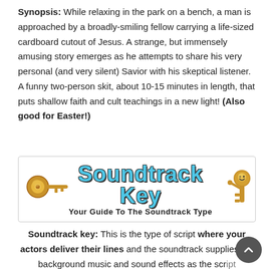Synopsis: While relaxing in the park on a bench, a man is approached by a broadly-smiling fellow carrying a life-sized cardboard cutout of Jesus. A strange, but immensely amusing story emerges as he attempts to share his very personal (and very silent) Savior with his skeptical listener. A funny two-person skit, about 10-15 minutes in length, that puts shallow faith and cult teachings in a new light! (Also good for Easter!)
[Figure (logo): Soundtrack Key banner logo with golden key on left, stylized 'Soundtrack Key' text in blue with dark outline in center, golden key character on right, subtitle 'Your Guide To The Soundtrack Type']
Soundtrack key: This is the type of script where your actors deliver their lines and the soundtrack supplies the background music and sound effects as the script calls for them.